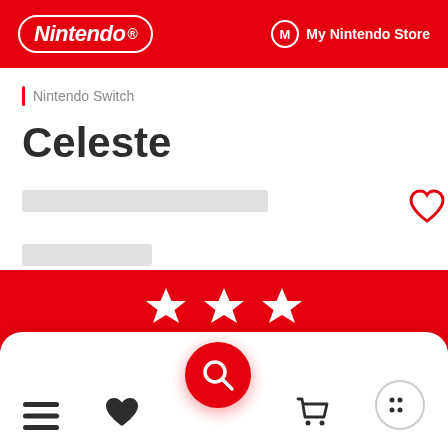Nintendo | My Nintendo Store
Nintendo Switch
Celeste
[Figure (screenshot): Loading placeholder bars for price/rating info]
[Figure (infographic): Red banner with three star icons]
Bottom navigation bar with hamburger menu, heart/wishlist, search, cart, and dots icons